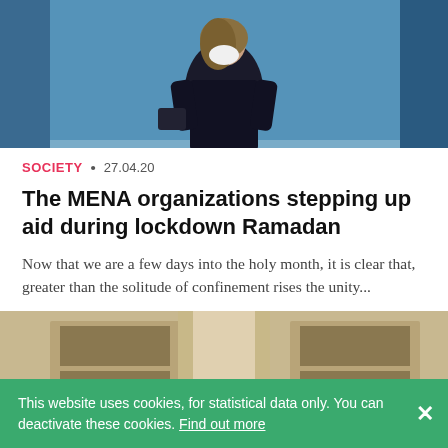[Figure (photo): Person wearing a white face mask and dark coat walking in front of a large blue structure or billboard]
SOCIETY • 27.04.20
The MENA organizations stepping up aid during lockdown Ramadan
Now that we are a few days into the holy month, it is clear that, greater than the solitude of confinement rises the unity...
[Figure (photo): A person sitting alone on a prayer mat inside a large mosque with marble floors and ornate architecture]
This website uses cookies, for statistical data only. You can deactivate these cookies. Find out more